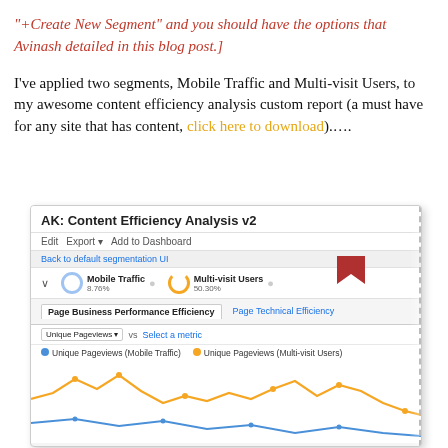"+Create New Segment" and you should have the options that Avinash detailed in this blog post.]
I've applied two segments, Mobile Traffic and Multi-visit Users, to my awesome content efficiency analysis custom report (a must have for any site that has content, click here to download)....
[Figure (screenshot): Screenshot of Google Analytics custom report titled 'AK: Content Efficiency Analysis v2' showing two segments applied: Mobile Traffic (8.76%) and Multi-visit Users (50.30%), with tabs for Page Business Performance Efficiency and Page Technical Efficiency, and a line chart comparing Unique Pageviews for both segments over time.]